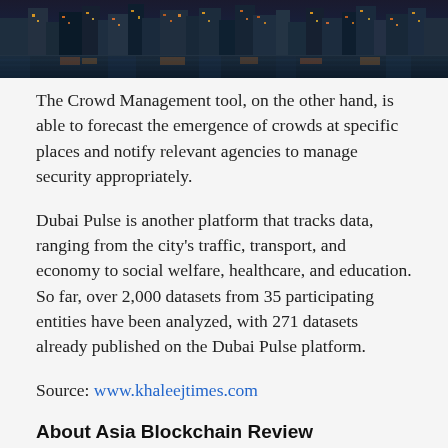[Figure (photo): Nighttime cityscape photo showing illuminated buildings reflected on water, likely Dubai waterfront]
The Crowd Management tool, on the other hand, is able to forecast the emergence of crowds at specific places and notify relevant agencies to manage security appropriately.
Dubai Pulse is another platform that tracks data, ranging from the city's traffic, transport, and economy to social welfare, healthcare, and education. So far, over 2,000 datasets from 35 participating entities have been analyzed, with 271 datasets already published on the Dubai Pulse platform.
Source: www.khaleejtimes.com
About Asia Blockchain Review
Asia Blockchain Review is the largest initiative for media and community building in Asia for blockchain technology. It aims to connect all blockchain enthusiasts on a regional